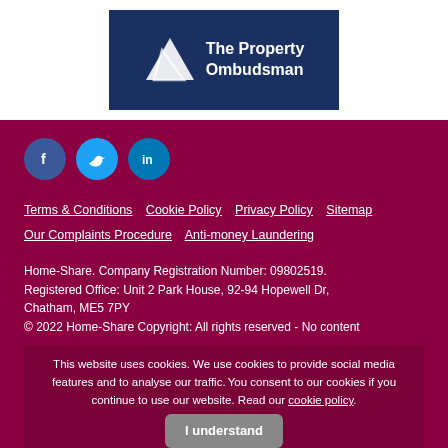[Figure (logo): The Property Ombudsman logo — dark navy blue rectangle with white mountain/triangle graphic and white bold text 'The Property Ombudsman']
[Figure (infographic): Social media icons: Facebook (blue circle with 'f'), Twitter (light blue circle with bird), LinkedIn (teal circle with 'in')]
Terms & Conditions   Cookie Policy   Privacy Policy   Sitemap   Our Complaints Procedure   Anti-money Laundering
Home-Share. Company Registration Number: 09802519. Registered Office: Unit 2 Park House, 92-94 Hopewell Dr, Chatham, ME5 7PY
© 2022 Home-Share Copyright: All rights reserved - No content
This website uses cookies. We use cookies to provide social media features and to analyse our traffic. You consent to our cookies if you continue to use our website. Read our cookie policy.